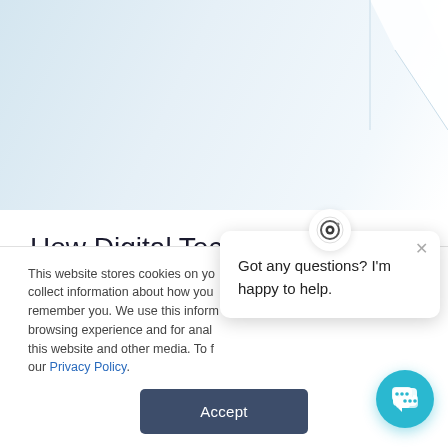[Figure (illustration): Light blue and white gradient hero background with white abstract angular shapes in the upper right corner]
How Digital Technology Helps Deal with Climate Change
This website stores cookies on yo... collect information about how you... remember you. We use this inform... browsing experience and for anal... this website and other media. To f... our Privacy Policy.
[Figure (other): Chat popup bubble with target/bullseye icon at top, close X button, and text: Got any questions? I'm happy to help.]
[Figure (other): Accept button (dark navy rounded rectangle)]
[Figure (other): Teal circular chat launcher button with speech bubble icon in bottom right corner]